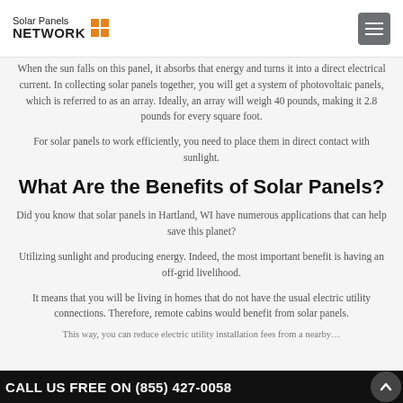Solar Panels NETWORK
When the sun falls on this panel, it absorbs that energy and turns it into a direct electrical current. In collecting solar panels together, you will get a system of photovoltaic panels, which is referred to as an array. Ideally, an array will weigh 40 pounds, making it 2.8 pounds for every square foot.
For solar panels to work efficiently, you need to place them in direct contact with sunlight.
What Are the Benefits of Solar Panels?
Did you know that solar panels in Hartland, WI have numerous applications that can help save this planet?
Utilizing sunlight and producing energy. Indeed, the most important benefit is having an off-grid livelihood.
It means that you will be living in homes that do not have the usual electric utility connections. Therefore, remote cabins would benefit from solar panels.
CALL US FREE ON (855) 427-0058